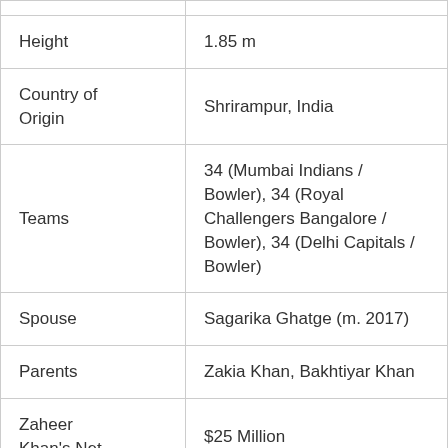| Height | 1.85 m |
| Country of Origin | Shrirampur, India |
| Teams | 34 (Mumbai Indians / Bowler), 34 (Royal Challengers Bangalore / Bowler), 34 (Delhi Capitals / Bowler) |
| Spouse | Sagarika Ghatge (m. 2017) |
| Parents | Zakia Khan, Bakhtiyar Khan |
| Zaheer Khan's Net | $25 Million |